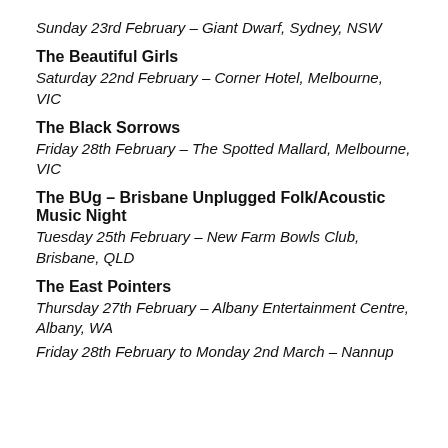Sunday 23rd February – Giant Dwarf, Sydney, NSW
The Beautiful Girls
Saturday 22nd February – Corner Hotel, Melbourne, VIC
The Black Sorrows
Friday 28th February – The Spotted Mallard, Melbourne, VIC
The BUg – Brisbane Unplugged Folk/Acoustic Music Night
Tuesday 25th February – New Farm Bowls Club, Brisbane, QLD
The East Pointers
Thursday 27th February – Albany Entertainment Centre, Albany, WA
Friday 28th February to Monday 2nd March – Nannup